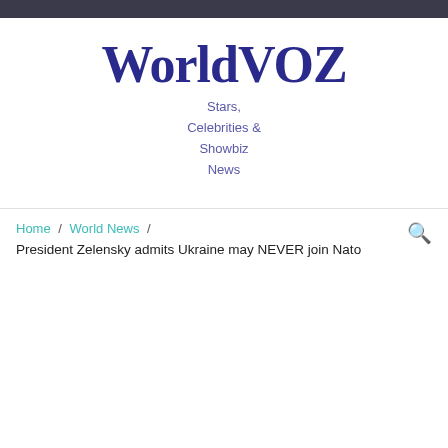WorldVOZ
Stars, Celebrities & Showbiz News
Home / World News / President Zelensky admits Ukraine may NEVER join Nato